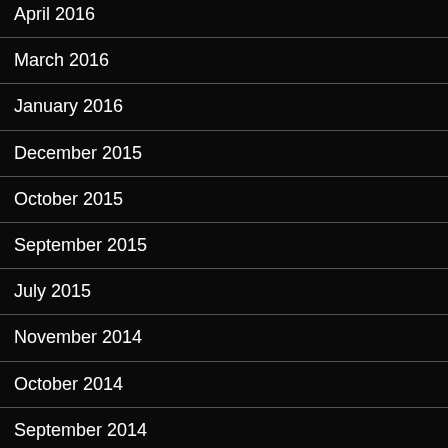April 2016
March 2016
January 2016
December 2015
October 2015
September 2015
July 2015
November 2014
October 2014
September 2014
June 2014
May 2014
October 2013